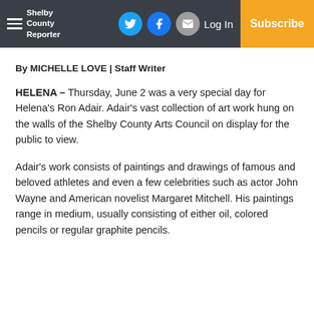Shelby County Reporter | Log In | Subscribe
By MICHELLE LOVE | Staff Writer
HELENA – Thursday, June 2 was a very special day for Helena's Ron Adair. Adair's vast collection of art work hung on the walls of the Shelby County Arts Council on display for the public to view.
Adair's work consists of paintings and drawings of famous and beloved athletes and even a few celebrities such as actor John Wayne and American novelist Margaret Mitchell. His paintings range in medium, usually consisting of either oil, colored pencils or regular graphite pencils.